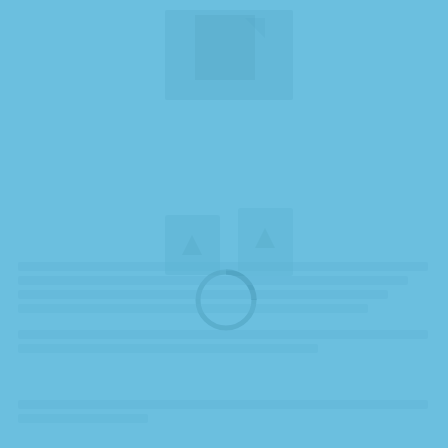[Figure (other): A heavily washed-out/faded blue page showing ghost images of what appears to be a document or book page with very low contrast text and a circular ring/loading indicator shape in the center. The content is largely illegible due to the blue overlay wash.]